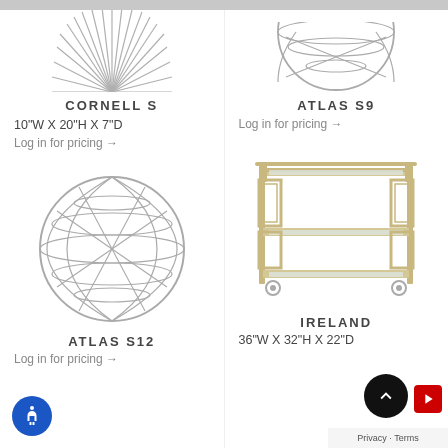[Figure (illustration): Partial view of Cornell S pendant light (starburst/spiked design) from top]
CORNELL S
10"W X 20"H X 7"D
Log in for pricing →
[Figure (illustration): Partial view of Atlas S9 orb/globe pendant light from top]
ATLAS S9
Log in for pricing →
[Figure (illustration): Atlas S12 spherical wire globe sculpture/lamp]
ATLAS S12
Log in for pricing →
[Figure (illustration): Ireland bar cart with gold/champagne metal frame and glass shelves on casters]
IRELAND
36"W X 32"H X 22"D